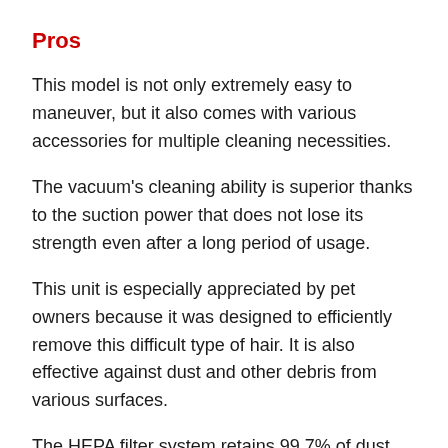Pros
This model is not only extremely easy to maneuver, but it also comes with various accessories for multiple cleaning necessities.
The vacuum's cleaning ability is superior thanks to the suction power that does not lose its strength even after a long period of usage.
This unit is especially appreciated by pet owners because it was designed to efficiently remove this difficult type of hair. It is also effective against dust and other debris from various surfaces.
The HEPA filter system retains 99.7% of dust, dander, and other debris, which significantly reduces allergy-inducing pollutants from your home.